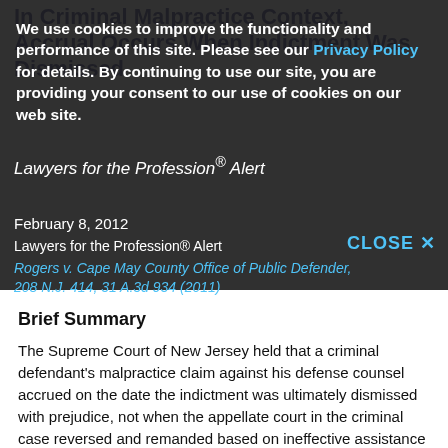In Criminal Malpractice Context, Accrual Occurs When Indictment Was Dismissed
We use cookies to improve the functionality and performance of this site. Please see our Privacy Policy for details. By continuing to use our site, you are providing your consent to our use of cookies on our web site.
Lawyers for the Profession® Alert
February 8, 2012
Lawyers for the Profession® Alert
CLOSE ×
Rogers v. Cape May County Office of Public Defender, 208 N.J. 414, 31 A.3d 934 (2011)
Brief Summary
The Supreme Court of New Jersey held that a criminal defendant’s malpractice claim against his defense counsel accrued on the date the indictment was ultimately dismissed with prejudice, not when the appellate court in the criminal case reversed and remanded based on ineffective assistance of counsel.